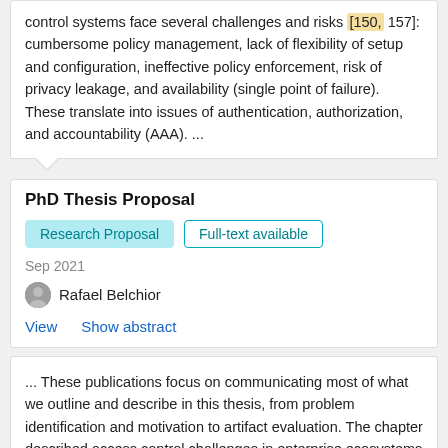control systems face several challenges and risks [150, 157]: cumbersome policy management, lack of flexibility of setup and configuration, ineffective policy enforcement, risk of privacy leakage, and availability (single point of failure). These translate into issues of authentication, authorization, and accountability (AAA). ...
PhD Thesis Proposal
Research Proposal   Full-text available
Sep 2021
Rafael Belchior
View   Show abstract
... These publications focus on communicating most of what we outline and describe in this thesis, from problem identification and motivation to artifact evaluation. The chapter described access control challenges in enterprise ecosystems and possible solutions through blockchain-based technologies [144] , whose main content was derived from the extensive analysis of the